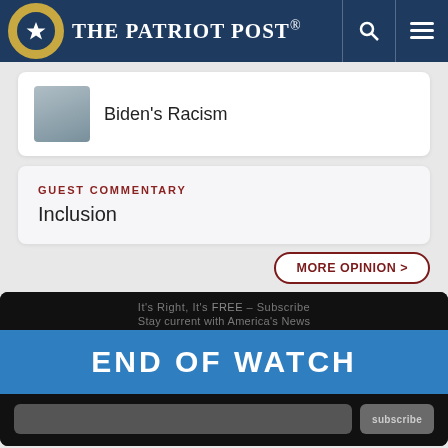The Patriot Post
Biden's Racism
GUEST COMMENTARY
Inclusion
MORE OPINION >
[Figure (screenshot): End of Watch subscription banner with dark background, blue stripe reading END OF WATCH, and email subscribe form]
The Patriot Foundation Trust